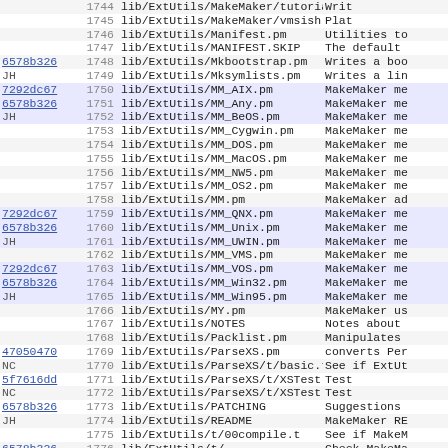| hash | num | path | description |
| --- | --- | --- | --- |
|  | 1744 | lib/ExtUtils/MakeMaker/tutorial.pod | Writ |
|  | 1745 | lib/ExtUtils/MakeMaker/vmsish.pm | Plat |
|  | 1746 | lib/ExtUtils/Manifest.pm | Utilities to |
|  | 1747 | lib/ExtUtils/MANIFEST.SKIP | The default |
| 6578b326 | 1748 | lib/ExtUtils/Mkbootstrap.pm | Writes a boo |
| JH | 1749 | lib/ExtUtils/Mksymlists.pm | Writes a lin |
| 7292dc67 | 1750 | lib/ExtUtils/MM_AIX.pm | MakeMaker me |
| 6578b326 | 1751 | lib/ExtUtils/MM_Any.pm | MakeMaker me |
| JH | 1752 | lib/ExtUtils/MM_BeOS.pm | MakeMaker me |
|  | 1753 | lib/ExtUtils/MM_Cygwin.pm | MakeMaker me |
|  | 1754 | lib/ExtUtils/MM_DOS.pm | MakeMaker me |
|  | 1755 | lib/ExtUtils/MM_MacOS.pm | MakeMaker me |
|  | 1756 | lib/ExtUtils/MM_NW5.pm | MakeMaker me |
|  | 1757 | lib/ExtUtils/MM_OS2.pm | MakeMaker me |
|  | 1758 | lib/ExtUtils/MM.pm | MakeMaker ad |
| 7292dc67 | 1759 | lib/ExtUtils/MM_QNX.pm | MakeMaker me |
| 6578b326 | 1760 | lib/ExtUtils/MM_Unix.pm | MakeMaker me |
| JH | 1761 | lib/ExtUtils/MM_UWIN.pm | MakeMaker me |
|  | 1762 | lib/ExtUtils/MM_VMS.pm | MakeMaker me |
| 7292dc67 | 1763 | lib/ExtUtils/MM_VOS.pm | MakeMaker me |
| 6578b326 | 1764 | lib/ExtUtils/MM_Win32.pm | MakeMaker me |
| JH | 1765 | lib/ExtUtils/MM_Win95.pm | MakeMaker me |
|  | 1766 | lib/ExtUtils/MY.pm | MakeMaker us |
|  | 1767 | lib/ExtUtils/NOTES | Notes about |
|  | 1768 | lib/ExtUtils/Packlist.pm | Manipulates |
| 47050470 | 1769 | lib/ExtUtils/ParseXS.pm | converts Per |
| NC | 1770 | lib/ExtUtils/ParseXS/t/basic.t | See if ExtUt |
| 5f7616dd | 1771 | lib/ExtUtils/ParseXS/t/XSTest.pm | Test |
| NC | 1772 | lib/ExtUtils/ParseXS/t/XSTest.xs | Test |
| 6578b326 | 1773 | lib/ExtUtils/PATCHING | Suggestions |
| JH | 1774 | lib/ExtUtils/README | MakeMaker RE |
|  | 1775 | lib/ExtUtils/t/00compile.t | See if MakeM |
| 6578b326 | 1776 | lib/ExtUtils/t/... | Check MakeMa |